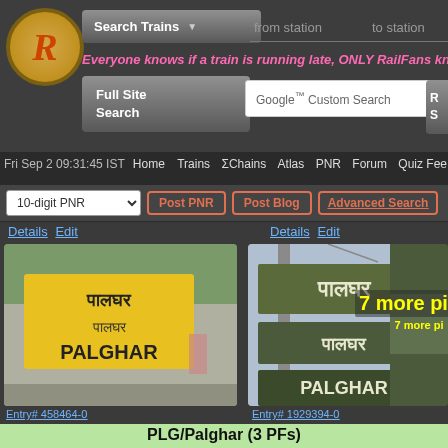[Figure (screenshot): RailFans India website screenshot showing search interface with logo, Search Trains button, from/to station inputs, tagline, Full Site Search, Google Custom Search box]
Fri Sep 2 09:31:45 IST  Home  Trains  ΣChains  Atlas  PNR  Forum  Quiz Fee
10-digit PNR  Post PNR  Post Blog  Advanced Search
Details Edit
Details Edit
[Figure (photo): Photo of Palghar station sign in Hindi and English (PALGHAR), yellow sign board, Entry# 458464-0]
[Figure (photo): Photo of Palghar station name board in Hindi and English on a grey pole structure, Entry# 1929394-0]
[Figure (photo): Partial photo showing 7 more pi (7 more pictures)]
Entry# 458464-0
Entry# 1929394-0
PLG/Palghar (3 PFs)
Track: Double Electric-Line
Scroll to